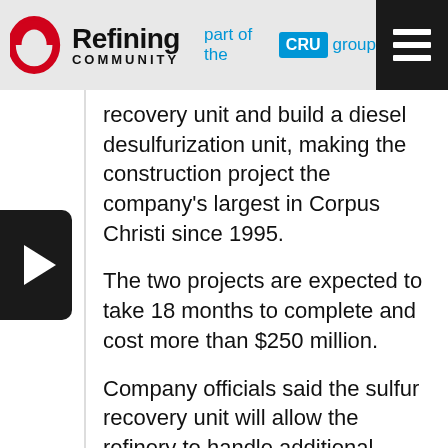[Figure (logo): Refining Community logo with red oval icon, 'part of the CRU group' text in blue, and hamburger menu icon on dark background]
recovery unit and build a diesel desulfurization unit, making the construction project the company's largest in Corpus Christi since 1995.
The two projects are expected to take 18 months to complete and cost more than $250 million.
Company officials said the sulfur recovery unit will allow the refinery to handle additional feedstocks to improve its competitive position. The diesel